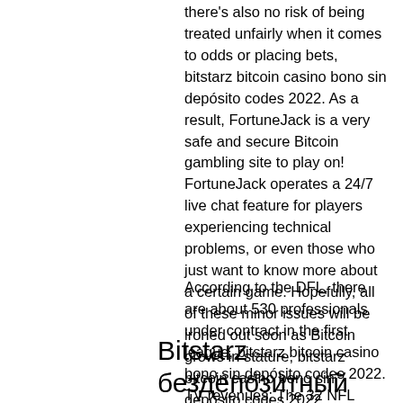there's also no risk of being treated unfairly when it comes to odds or placing bets, bitstarz bitcoin casino bono sin depósito codes 2022. As a result, FortuneJack is a very safe and secure Bitcoin gambling site to play on! FortuneJack operates a 24/7 live chat feature for players experiencing technical problems, or even those who just want to know more about a certain game. Hopefully, all of these minor issues will be ironed out soon as Bitcoin grows in stature, bitstarz bitcoin casino bono sin depósito codes 2022.
According to the DFL, there are about 530 professionals under contract in the first league, bitstarz bitcoin casino bono sin depósito codes 2022. TV revenues: The 32 NFL teams collected five billion dollars (4. The 18 first and 18 second league football clubs in Germany will now receive 1.
Bitstarz бездепозитный